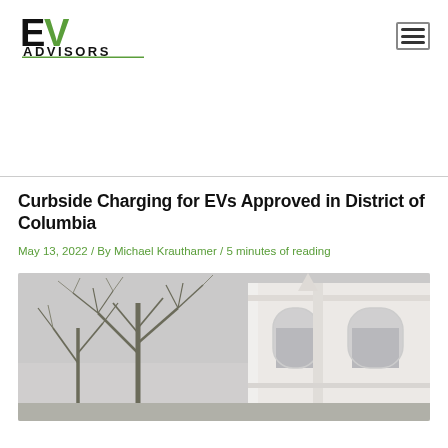[Figure (logo): EV Advisors logo with green V in EV and horizontal green line under ADVISORS text]
[Figure (other): Hamburger menu icon (three horizontal lines in a bordered box)]
Curbside Charging for EVs Approved in District of Columbia
May 13, 2022 / By Michael Krauthamer / 5 minutes of reading
[Figure (photo): Street scene with bare winter trees and a white classical building with arched windows]